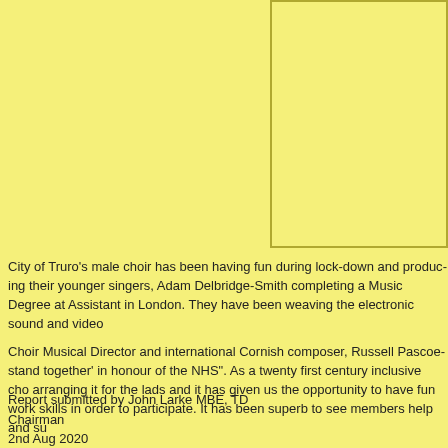[Figure (other): Yellow background box/placeholder image area in upper right of page]
City of Truro's male choir has been having fun during lock-down and produc... their younger singers, Adam Delbridge-Smith completing a Music Degree at... Assistant in London. They have been weaving the electronic sound and vide...
Choir Musical Director and international Cornish composer, Russell Pascoe... stand together' in honour of the NHS". As a twenty first century inclusive cho... arranging it for the lads and it has given us the opportunity to have fun work... skills in order to participate. It has been superb to see members help and su...
The video can be seen on YouTube, at https://youtu.be/AlTbJafB9NM
Report submitted by John Larke MBE, TD
Chairman
2nd Aug 2020